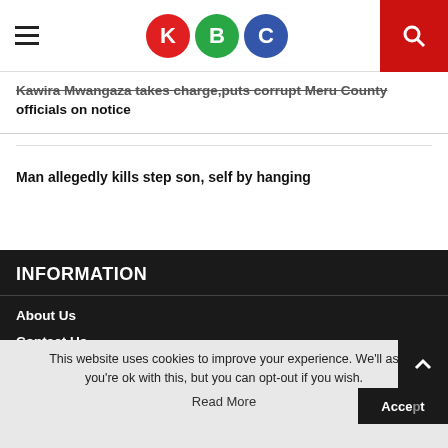KBC
Kawira Mwangaza takes charge,puts corrupt Meru County officials on notice
Man allegedly kills step son, self by hanging
INFORMATION
About Us
Contact Us
This website uses cookies to improve your experience. We'll as you're ok with this, but you can opt-out if you wish.
Accept
Read More